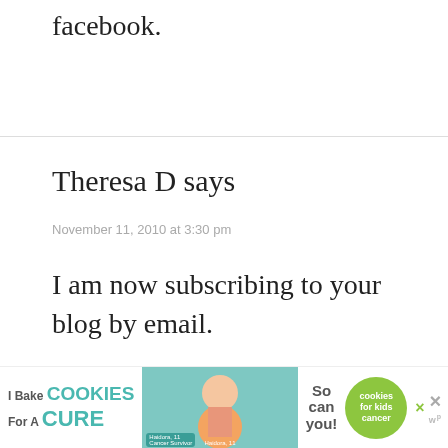facebook.
Theresa D says
November 11, 2010 at 3:30 pm
I am now subscribing to your blog by email.
[Figure (other): Advertisement banner: I Bake COOKIES For A CURE featuring Haidora, 11 Cancer Survivor - So can you! cookies for kids cancer]